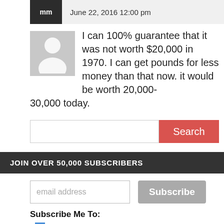mm  June 22, 2016 12:00 pm
I can 100% guarantee that it was not worth $20,000 in 1970. I can get pounds for less money than that now. it would be worth 20,000-30,000 today.
Search
JOIN OVER 50,000 SUBSCRIBERS
email address
Subscribe
Subscribe Me To:
Daily Knowledge
Weekly Wrap